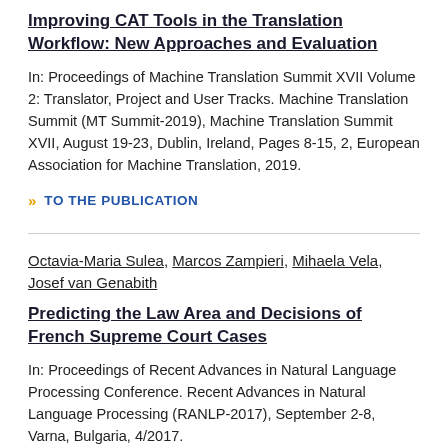Improving CAT Tools in the Translation Workflow: New Approaches and Evaluation
In: Proceedings of Machine Translation Summit XVII Volume 2: Translator, Project and User Tracks. Machine Translation Summit (MT Summit-2019), Machine Translation Summit XVII, August 19-23, Dublin, Ireland, Pages 8-15, 2, European Association for Machine Translation, 2019.
» TO THE PUBLICATION
Octavia-Maria Sulea, Marcos Zampieri, Mihaela Vela, Josef van Genabith
Predicting the Law Area and Decisions of French Supreme Court Cases
In: Proceedings of Recent Advances in Natural Language Processing Conference. Recent Advances in Natural Language Processing (RANLP-2017), September 2-8, Varna, Bulgaria, 4/2017.